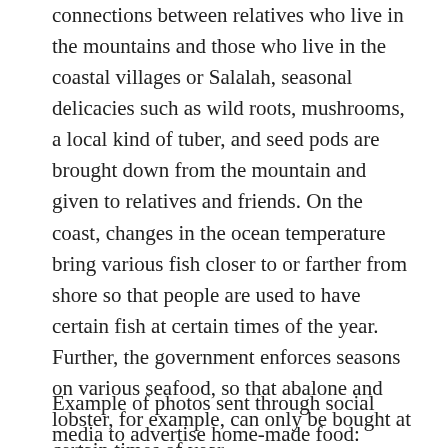connections between relatives who live in the mountains and those who live in the coastal villages or Salalah, seasonal delicacies such as wild roots, mushrooms, a local kind of tuber, and seed pods are brought down from the mountain and given to relatives and friends. On the coast, changes in the ocean temperature bring various fish closer to or farther from shore so that people are used to have certain fish at certain times of the year. Further, the government enforces seasons on various seafood, so that abalone and lobster, for example, can only be bought at certain times of year.
Example of photos sent through social media to advertise home-made food: